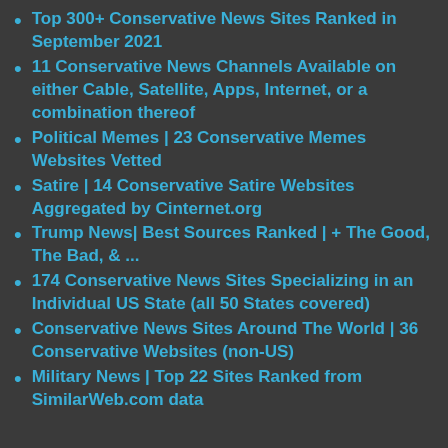Top 300+ Conservative News Sites Ranked in September 2021
11 Conservative News Channels Available on either Cable, Satellite, Apps, Internet, or a combination thereof
Political Memes | 23 Conservative Memes Websites Vetted
Satire | 14 Conservative Satire Websites Aggregated by Cinternet.org
Trump News| Best Sources Ranked | + The Good, The Bad, & ...
174 Conservative News Sites Specializing in an Individual US State (all 50 States covered)
Conservative News Sites Around The World | 36 Conservative Websites (non-US)
Military News | Top 22 Sites Ranked from SimilarWeb.com data